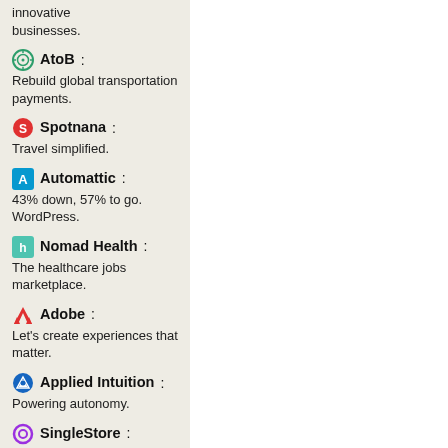innovative businesses.
AtoB: Rebuild global transportation payments.
Spotnana: Travel simplified.
Automattic: 43% down, 57% to go. WordPress.
Nomad Health: The healthcare jobs marketplace.
Adobe: Let's create experiences that matter.
Applied Intuition: Powering autonomy.
SingleStore: